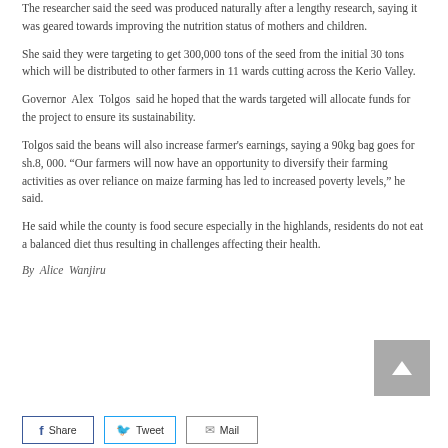The researcher said the seed was produced naturally after a lengthy research, saying it was geared towards improving the nutrition status of mothers and children.
She said they were targeting to get 300,000 tons of the seed from the initial 30 tons which will be distributed to other farmers in 11 wards cutting across the Kerio Valley.
Governor Alex Tolgos said he hoped that the wards targeted will allocate funds for the project to ensure its sustainability.
Tolgos said the beans will also increase farmer's earnings, saying a 90kg bag goes for sh.8, 000. “Our farmers will now have an opportunity to diversify their farming activities as over reliance on maize farming has led to increased poverty levels,” he said.
He said while the county is food secure especially in the highlands, residents do not eat a balanced diet thus resulting in challenges affecting their health.
By Alice Wanjiru